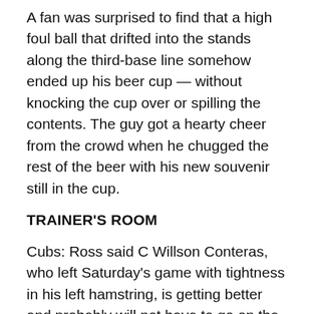A fan was surprised to find that a high foul ball that drifted into the stands along the third-base line somehow ended up his beer cup — without knocking the cup over or spilling the contents. The guy got a hearty cheer from the crowd when he chugged the rest of the beer with his new souvenir still in the cup.
TRAINER'S ROOM
Cubs: Ross said C Willson Conteras, who left Saturday's game with tightness in his left hamstring, is getting better and probably will not have to go on the injury list.